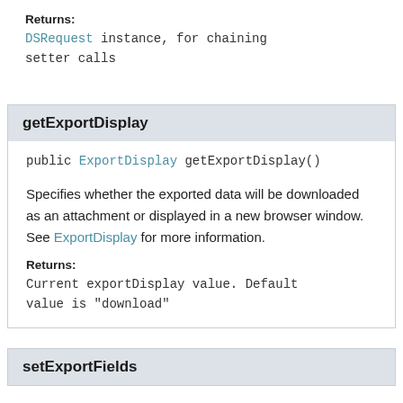Returns:
DSRequest instance, for chaining setter calls
getExportDisplay
public ExportDisplay getExportDisplay()
Specifies whether the exported data will be downloaded as an attachment or displayed in a new browser window. See ExportDisplay for more information.
Returns:
Current exportDisplay value. Default value is "download"
setExportFields